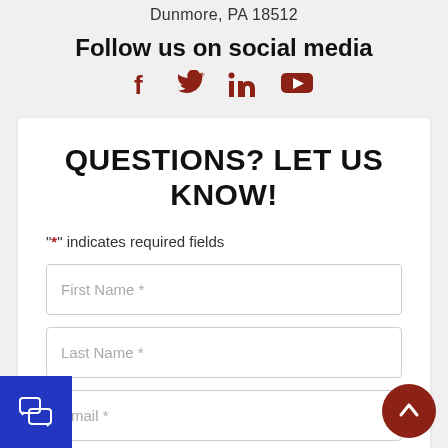Dunmore, PA 18512
Follow us on social media
[Figure (infographic): Social media icons: Facebook, Twitter, LinkedIn, YouTube in dark red/brown color]
QUESTIONS? LET US KNOW!
"*" indicates required fields
First Name *
Last Name *
Email *